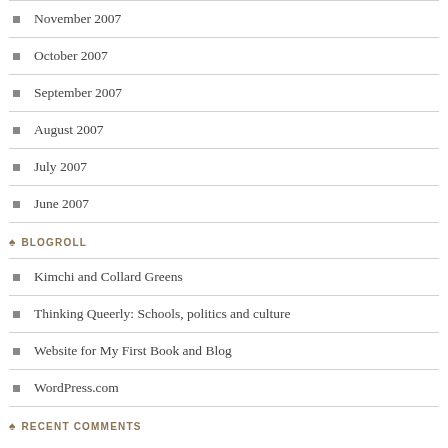November 2007
October 2007
September 2007
August 2007
July 2007
June 2007
BLOGROLL
Kimchi and Collard Greens
Thinking Queerly: Schools, politics and culture
Website for My First Book and Blog
WordPress.com
RECENT COMMENTS
My Sampling of Super… on The White-Boy Logic of Superna…